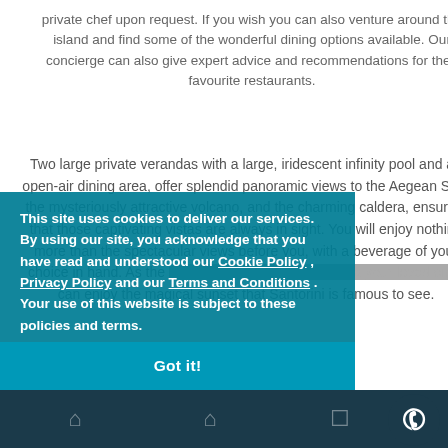private chef upon request. If you wish you can also venture around the island and find some of the wonderful dining options available. Our concierge can also give expert advice and recommendations for their favourite restaurants.
Two large private verandas with a large, iridescent infinity pool and an open-air dining area, offer splendid panoramic views to the Aegean Sea, the mysteriously attractive volcano, and the charming caldera, ensuring that those captivating vistas are always in sight. You will enjoy nothing more than the spectacular views before you, with a beverage of your choice in hand. As the sun sinks into the sea, you and your loved ones can enjoy the magical sunset that Santorini is famous to see.
...s with small ...seeking privacy ...ll provide ...From comfort ...hing more than
This site uses cookies to deliver our services. By using our site, you acknowledge that you have read and understood our Cookie Policy, Privacy Policy and our Terms and Conditions. Your use of this website is subject to these policies and terms.